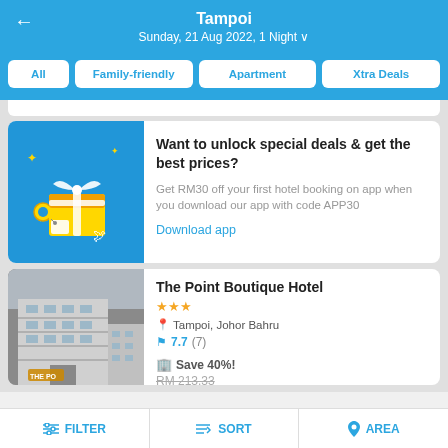Tampoi
Sunday, 21 Aug 2022, 1 Night
All
Family-friendly
Apartment
Xtra Deals
[Figure (illustration): App promo banner with gift box illustration on blue background]
Want to unlock special deals & get the best prices?
Get RM30 off your first hotel booking on app when you download our app with code APP30
Download app
[Figure (photo): Photo of The Point Boutique Hotel building exterior]
The Point Boutique Hotel
★★★
Tampoi, Johor Bahru
7.7 (7)
Save 40%!
RM 213.33
FILTER   SORT   AREA